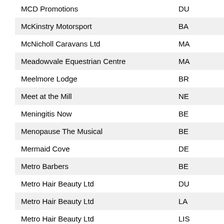| Name | Location |
| --- | --- |
| MCD Promotions | DU |
| McKinstry Motorsport | BA |
| McNicholl Caravans Ltd | MA |
| Meadowvale Equestrian Centre | MA |
| Meelmore Lodge | BR |
| Meet at the Mill | NE |
| Meningitis Now | BE |
| Menopause The Musical | BE |
| Mermaid Cove | DE |
| Metro Barbers | BE |
| Metro Hair Beauty Ltd | DU |
| Metro Hair Beauty Ltd | LA |
| Metro Hair Beauty Ltd | LIS |
| Metro Hair Beauty Ltd | ST |
| Michael McIntyre - Big World Tour - Dublin | DU |
| Michael OConnell Inspiring Fitness | SE |
| Michael Quinn Hairdressing | BE |
| Michelle Brown & Co | BA |